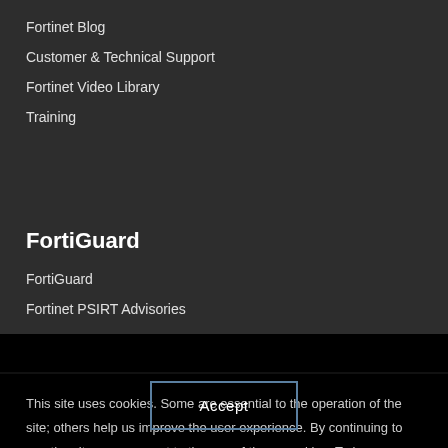Fortinet Blog
Customer & Technical Support
Fortinet Video Library
Training
FortiGuard
FortiGuard
Fortinet PSIRT Advisories
This site uses cookies. Some are essential to the operation of the site; others help us improve the user experience. By continuing to use the site, you consent to the use of these cookies. To learn more about cookies, please read our privacy policy.
Accept